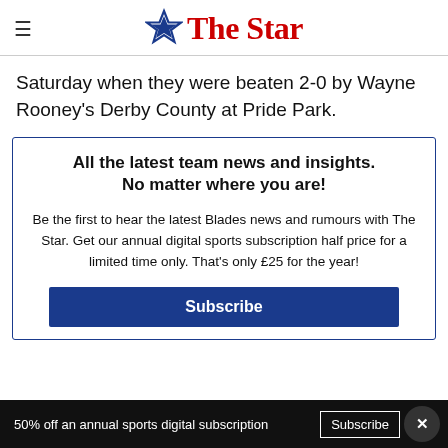The Star
Saturday when they were beaten 2-0 by Wayne Rooney's Derby County at Pride Park.
All the latest team news and insights. No matter where you are!

Be the first to hear the latest Blades news and rumours with The Star. Get our annual digital sports subscription half price for a limited time only. That's only £25 for the year!

Subscribe
50% off an annual sports digital subscription   Subscribe